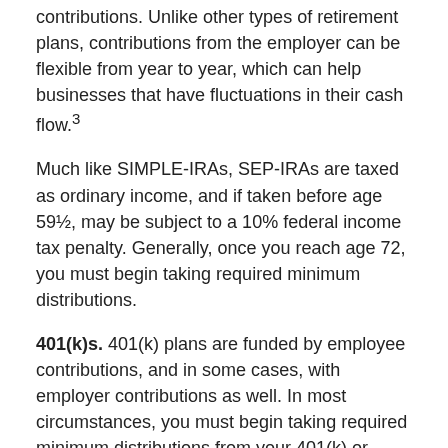employee. Employees are not able to add their own contributions. Unlike other types of retirement plans, contributions from the employer can be flexible from year to year, which can help businesses that have fluctuations in their cash flow.³
Much like SIMPLE-IRAs, SEP-IRAs are taxed as ordinary income, and if taken before age 59½, may be subject to a 10% federal income tax penalty. Generally, once you reach age 72, you must begin taking required minimum distributions.
401(k)s. 401(k) plans are funded by employee contributions, and in some cases, with employer contributions as well. In most circumstances, you must begin taking required minimum distributions from your 401(k) or other defined contribution plan in the year you turn 72. Withdrawals are taxed as ordinary income, and if taken before age 59½, may be subject to a 10% federal income tax penalty.¹